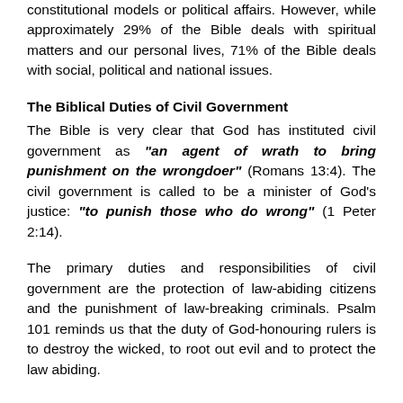constitutional models or political affairs. However, while approximately 29% of the Bible deals with spiritual matters and our personal lives, 71% of the Bible deals with social, political and national issues.
The Biblical Duties of Civil Government
The Bible is very clear that God has instituted civil government as "an agent of wrath to bring punishment on the wrongdoer" (Romans 13:4). The civil government is called to be a minister of God's justice: "to punish those who do wrong" (1 Peter 2:14).
The primary duties and responsibilities of civil government are the protection of law-abiding citizens and the punishment of law-breaking criminals. Psalm 101 reminds us that the duty of God-honouring rulers is to destroy the wicked, to root out evil and to protect the law abiding.